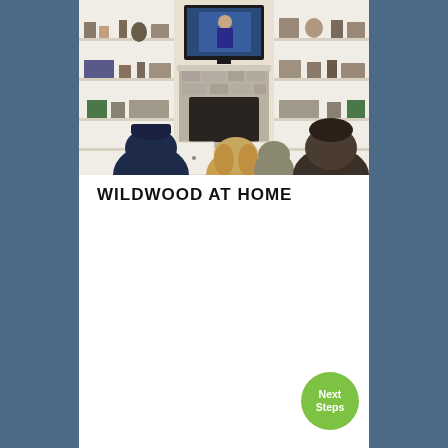[Figure (photo): A family seen from behind sitting on a couch watching a church service on a large TV mounted above a fireplace, surrounded by built-in white bookshelves filled with decorative items and framed photos.]
WILDWOOD AT HOME
Next Steps